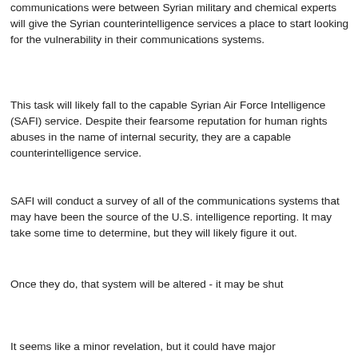communications were between Syrian military and chemical experts will give the Syrian counterintelligence services a place to start looking for the vulnerability in their communications systems.
This task will likely fall to the capable Syrian Air Force Intelligence (SAFI) service. Despite their fearsome reputation for human rights abuses in the name of internal security, they are a capable counterintelligence service.
SAFI will conduct a survey of all of the communications systems that may have been the source of the U.S. intelligence reporting. It may take some time to determine, but they will likely figure it out.
Once they do, that system will be altered - it may be shut down, it may be encrypted, if it was already encrypted, the encryption system will be changed. In any case, the communications will no longer be available to U.S. intelligence.
It seems like a minor revelation, but it could have major